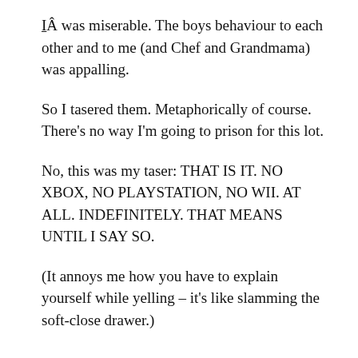IÂ was miserable. The boys behaviour to each other and to me (and Chef and Grandmama) was appalling.
So I tasered them. Metaphorically of course. There's no way I'm going to prison for this lot.
No, this was my taser: THAT IS IT. NO XBOX, NO PLAYSTATION, NO WII. AT ALL. INDEFINITELY. THAT MEANS UNTIL I SAY SO.
(It annoys me how you have to explain yourself while yelling – it's like slamming the soft-close drawer.)